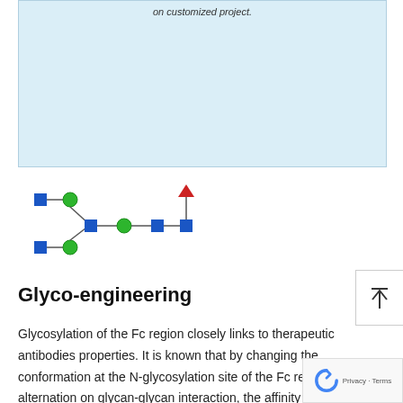[Figure (other): Light blue content/image box with partial italic text visible at top reading 'on customized project.']
[Figure (schematic): Glycan structure diagram showing blue squares and green circles connected by lines, with a red inverted triangle at top. Represents a glycan chain structural formula.]
Glyco-engineering
Glycosylation of the Fc region closely links to therapeutic antibodies properties. It is known that by changing the conformation at the N-glycosylation site of the Fc region o alternation on glycan-glycan interaction, the affinity of IgG to the